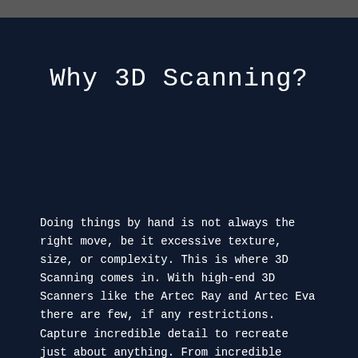Why 3D Scanning?
Doing things by hand is not always the right move, be it excessive texture, size, or complexity. This is where 3D Scanning comes in. With high-end 3D Scanners like the Artec Ray and Artec Eva there are few, if any restrictions. Capture incredible detail to recreate just about anything. From incredible detail on buildings and architecture to